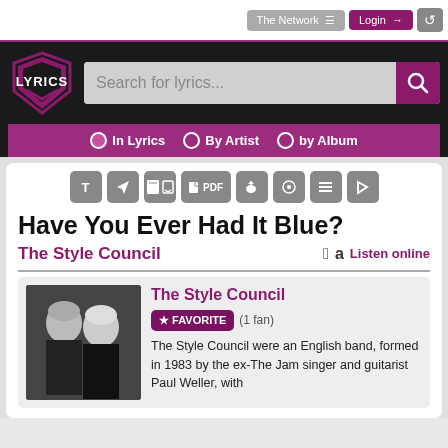The Network ≡  Login →  ↺
[Figure (logo): LYRICS shield logo in pink/purple and black]
Search for lyrics...
In Lyrics   By Artist   by Album
Have You Ever Had It Blue?
The Style Council
Listen online
The Style Council
★ FAVORITE (1 fan)
The Style Council were an English band, formed in 1983 by the ex-The Jam singer and guitarist Paul Weller, with